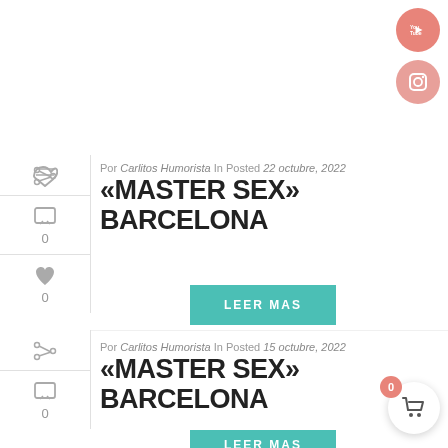Por Carlitos Humorista In Posted 22 octubre, 2022
«MASTER SEX» BARCELONA
LEER MAS
Por Carlitos Humorista In Posted 15 octubre, 2022
«MASTER SEX» BARCELONA
LEER MAS